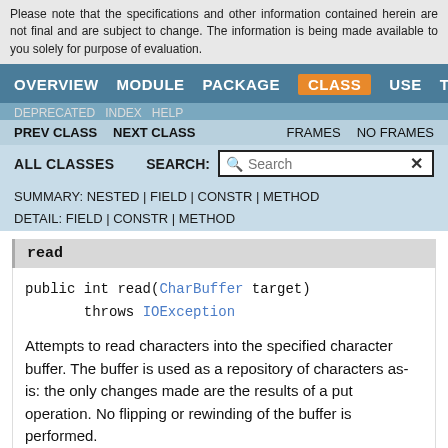Please note that the specifications and other information contained herein are not final and are subject to change. The information is being made available to you solely for purpose of evaluation.
OVERVIEW MODULE PACKAGE CLASS USE TREE
DEPRECATED INDEX HELP | PREV CLASS NEXT CLASS FRAMES NO FRAMES | ALL CLASSES SEARCH:
SUMMARY: NESTED | FIELD | CONSTR | METHOD
DETAIL: FIELD | CONSTR | METHOD
read
public int read(CharBuffer target)
       throws IOException
Attempts to read characters into the specified character buffer. The buffer is used as a repository of characters as-is: the only changes made are the results of a put operation. No flipping or rewinding of the buffer is performed.
Specified by:
read in interface Readable